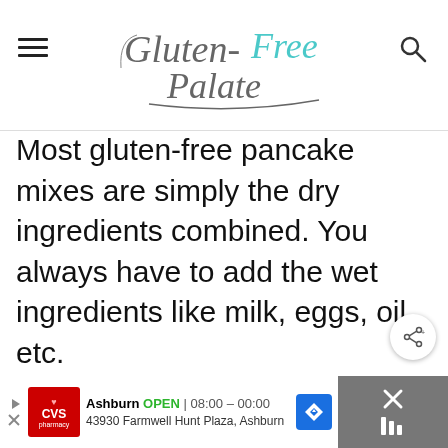Gluten-Free Palate
Most gluten-free pancake mixes are simply the dry ingredients combined. You always have to add the wet ingredients like milk, eggs, oil, etc.
[Figure (other): Advertisement banner: CVS Pharmacy, Ashburn OPEN 08:00-00:00, 43930 Farmwell Hunt Plaza, Ashburn]